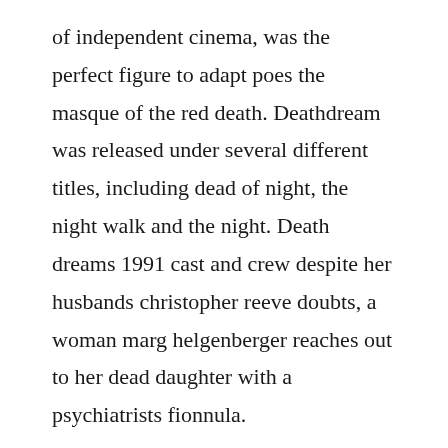of independent cinema, was the perfect figure to adapt poes the masque of the red death. Deathdream was released under several different titles, including dead of night, the night walk and the night. Death dreams 1991 cast and crew despite her husbands christopher reeve doubts, a woman marg helgenberger reaches out to her dead daughter with a psychiatrists fionnula.
This is without doubt one of the most affordable solutions out there. Sothink blu ray copy is allinclusive blu ray copy software that